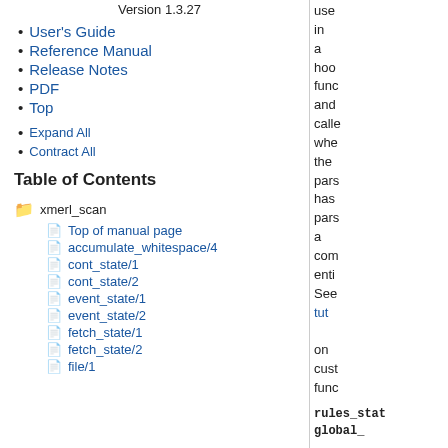Version 1.3.27
User's Guide
Reference Manual
Release Notes
PDF
Top
Expand All
Contract All
Table of Contents
xmerl_scan
Top of manual page
accumulate_whitespace/4
cont_state/1
cont_state/2
event_state/1
event_state/2
fetch_state/1
fetch_state/2
file/1
used in a hook func and called whe the pars has pars a com enti See tut on cust func
rules_stat global_